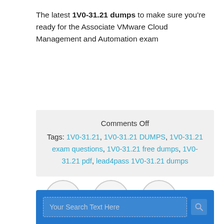The latest 1V0-31.21 dumps to make sure you're ready for the Associate VMware Cloud Management and Automation exam
Comments Off
Tags: 1V0-31.21, 1V0-31.21 DUMPS, 1V0-31.21 exam questions, 1V0-31.21 free dumps, 1V0-31.21 pdf, lead4pass 1V0-31.21 dumps
[Figure (other): Three circular navigation buttons with arrow symbols]
[Figure (other): Search bar with placeholder text 'Your Search Text Here' and search icon on blue background]